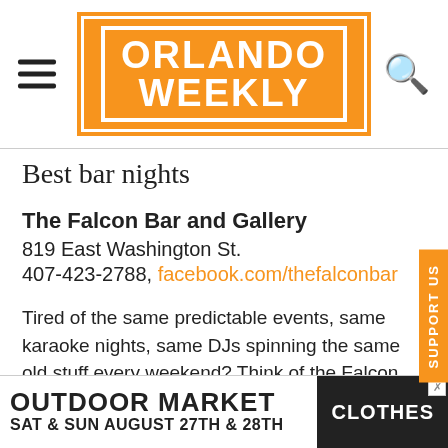ORLANDO WEEKLY
Best bar nights
The Falcon Bar and Gallery
819 East Washington St.
407-423-2788, facebook.com/thefalconbar
Tired of the same predictable events, same karaoke nights, same DJs spinning the same old stuff every weekend? Think of the Falcon Bar as the antidote to the scene fatigue you're feeling. When this little corner bar/gallery opened in
[Figure (other): Advertisement banner: OUTDOOR MARKET / SAT & SUN AUGUST 27TH & 28TH / CLOTHES]